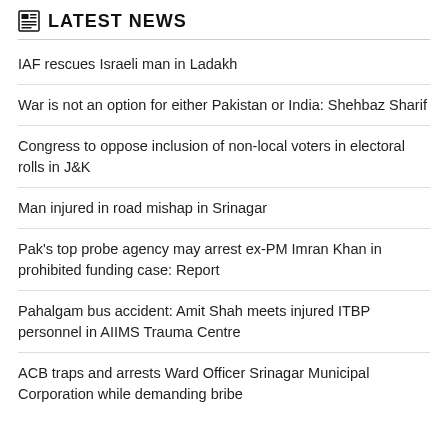LATEST NEWS
IAF rescues Israeli man in Ladakh
War is not an option for either Pakistan or India: Shehbaz Sharif
Congress to oppose inclusion of non-local voters in electoral rolls in J&K
Man injured in road mishap in Srinagar
Pak's top probe agency may arrest ex-PM Imran Khan in prohibited funding case: Report
Pahalgam bus accident: Amit Shah meets injured ITBP personnel in AIIMS Trauma Centre
ACB traps and arrests Ward Officer Srinagar Municipal Corporation while demanding bribe